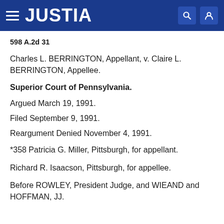JUSTIA
598 A.2d 31
Charles L. BERRINGTON, Appellant, v. Claire L. BERRINGTON, Appellee.
Superior Court of Pennsylvania.
Argued March 19, 1991.
Filed September 9, 1991.
Reargument Denied November 4, 1991.
*358 Patricia G. Miller, Pittsburgh, for appellant.
Richard R. Isaacson, Pittsburgh, for appellee.
Before ROWLEY, President Judge, and WIEAND and HOFFMAN, JJ.